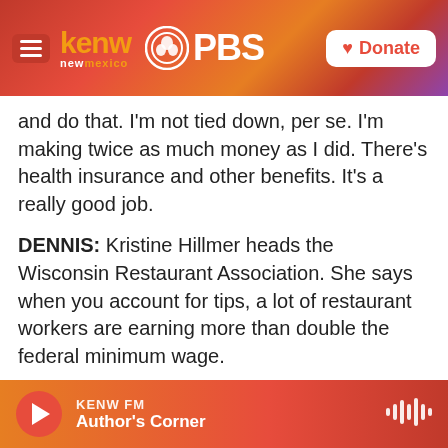[Figure (logo): KENW New Mexico PBS header with menu icon, KENW logo in orange, PBS logo with circle icon, and a white Donate button with heart icon on a red-to-orange gradient background]
and do that. I'm not tied down, per se. I'm making twice as much money as I did. There's health insurance and other benefits. It's a really good job.
DENNIS: Kristine Hillmer heads the Wisconsin Restaurant Association. She says when you account for tips, a lot of restaurant workers are earning more than double the federal minimum wage.
KRISTINE HILLMER: On average across this country, servers are making between $19 and $24 an hour. So there is money to be had. And in
KENW FM  Author's Corner